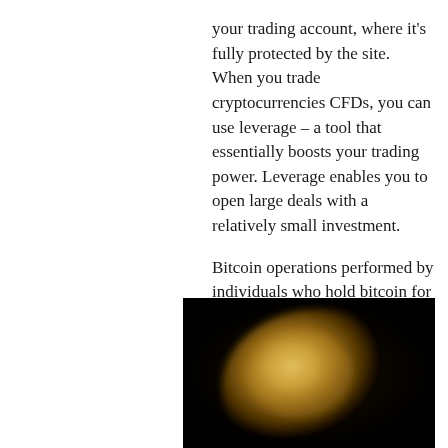your trading account, where it's fully protected by the site. When you trade cryptocurrencies CFDs, you can use leverage – a tool that essentially boosts your trading power. Leverage enables you to open large deals with a relatively small investment.
Bitcoin operations performed by individuals who hold bitcoin for other than commercial or corporate purposes do not generate taxable income, according to the Resolution. In February 2018, the German BaFin published information on the regulatory assessment of ICOs and the tokens, coins, and cryptocurrencies they are based on.
[Figure (photo): A blurred close-up photo of a gold Bitcoin coin against a dark black background.]